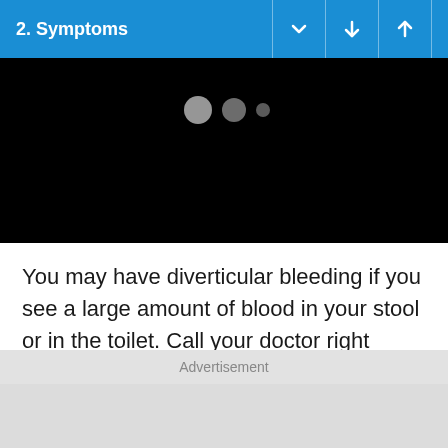2. Symptoms
[Figure (screenshot): Black video player area with three loading dots (large gray circle, medium gray circle, small gray dot) near the top center, indicating a loading/buffering video]
You may have diverticular bleeding if you see a large amount of blood in your stool or in the toilet. Call your doctor right away if any of these things happen. Also call your doctor
Advertisement